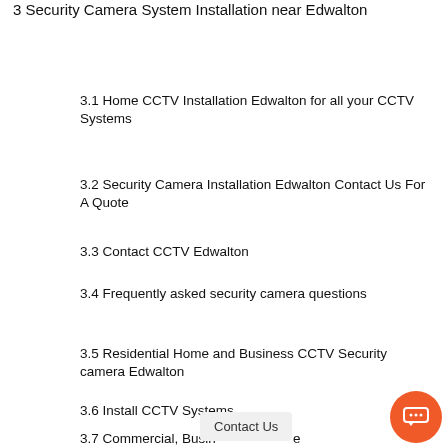3 Security Camera System Installation near Edwalton
3.1 Home CCTV Installation Edwalton for all your CCTV Systems
3.2 Security Camera Installation Edwalton Contact Us For A Quote
3.3 Contact CCTV Edwalton
3.4 Frequently asked security camera questions
3.5 Residential Home and Business CCTV Security camera Edwalton
3.6 Install CCTV Systems
3.7 Commercial, Business Security Cameras Edwalton